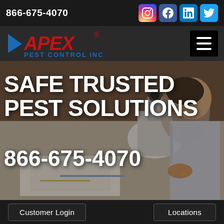866-675-4070
[Figure (logo): Apex Pest Control Inc logo with red APEX text and blue PEST CONTROL INC text, with a triangular arrow graphic]
[Figure (photo): A pest control technician in a white shirt examining specimens under a microscope at a desk with papers and tools]
SAFE TRUSTED PEST SOLUTIONS
866-675-4070
Customer Login
Locations